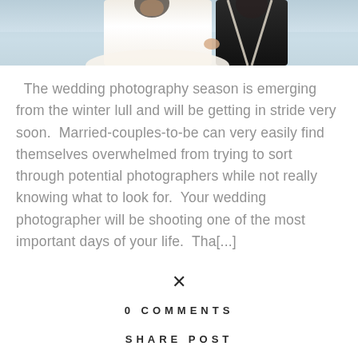[Figure (photo): Wedding photo showing a bride in white dress and groom in black suit at a beach, cropped to show from waist down, holding hands]
The wedding photography season is emerging from the winter lull and will be getting in stride very soon. Married-couples-to-be can very easily find themselves overwhelmed from trying to sort through potential photographers while not really knowing what to look for. Your wedding photographer will be shooting one of the most important days of your life. Tha[...]
×
0 COMMENTS
SHARE POST